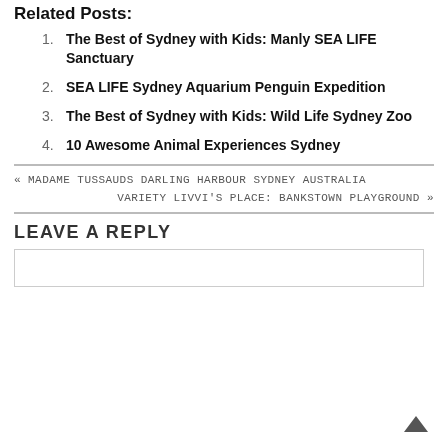Related Posts:
The Best of Sydney with Kids: Manly SEA LIFE Sanctuary
SEA LIFE Sydney Aquarium Penguin Expedition
The Best of Sydney with Kids: Wild Life Sydney Zoo
10 Awesome Animal Experiences Sydney
« MADAME TUSSAUDS DARLING HARBOUR SYDNEY AUSTRALIA
VARIETY LIVVI'S PLACE: BANKSTOWN PLAYGROUND »
LEAVE A REPLY